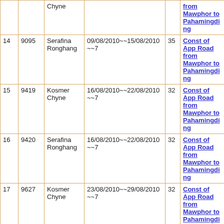|  |  |  |  |  |  |
| --- | --- | --- | --- | --- | --- |
|  |  | Chyne |  |  | from Mawphor to Pahamingding |
| 14 | 9095 | Serafina Ronghang | 09/08/2010~~15/08/2010~~7 | 35 | Const of App Road from Mawphor to Pahamingding |
| 15 | 9419 | Kosmer Chyne | 16/08/2010~~22/08/2010~~7 | 32 | Const of App Road from Mawphor to Pahamingding |
| 16 | 9420 | Serafina Ronghang | 16/08/2010~~22/08/2010~~7 | 32 | Const of App Road from Mawphor to Pahamingding |
| 17 | 9627 | Kosmer Chyne | 23/08/2010~~29/08/2010~~7 | 32 | Const of App Road from Mawphor to Pahamingding |
| 18 | 9628 | Serafina Ronghang | 23/08/2010~~29/08/2010~~7 | 35 | Const of App Road from Mawphor to Pahamingding |
| 19 | 53113 | Kosmer Chyne | 20/06/2011~~25/06/2011~~6 | 17 | Land Development, Rongphyrkong |
| 20 | 53114 | Serafina Ronghang | 20/06/2011~~25/06/2011~~6 | 17 | Land Development, Rongphyrkong |
| 21 | 53723 | Kosmer Chyne | 27/06/2011~~02/07/2011~~6 | 18 | Land Development, Rongphyrkong |
| 22 | 53724 | Serafina Ronghang | 27/06/2011~~02/07/2011~~6 | 18 | Land Development, Rongphyrkong |
| 23 | 54265 | Kosmer Chyne | 04/07/2011~~09/07/2011~~6 | 17 | Land Development, Rongphyrkong |